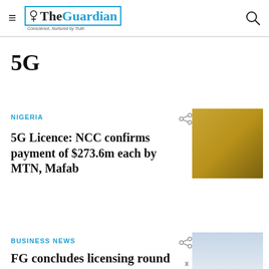TheGuardian — Conscience, Nurtured by Truth
5G
NIGERIA
5G Licence: NCC confirms payment of $273.6m each by MTN, Mafab
[Figure (photo): Photo of SIM cards on a golden/yellow surface]
BUSINESS NEWS
FG concludes licensing round